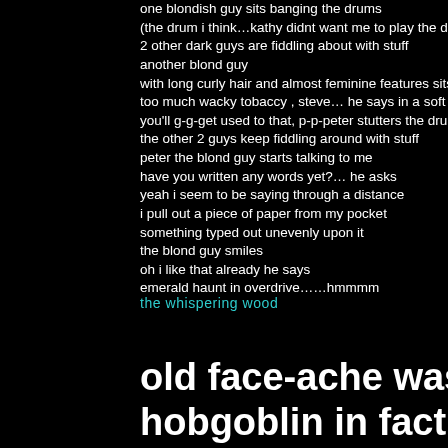one blondish guy sits banging the drums
(the drum i think…kathy didnt want me to play the dru
2 other dark guys are fiddling about with stuff
another blond guy
with long curly hair and almost feminine features sits t
too much wacky tobaccy , steve… he says in a soft e
you'll g-g-get used to that, p-p-peter stutters the drum
the other 2 guys keep fiddling around with stuff
peter the blond guy starts talking to me
have you written any words yet?… he asks
yeah i seem to be saying through a distance
i pull out a piece of paper from my pocket
something typed out unevenly upon it
the blond guy smiles
oh i like that already he says
emerald haunt in overdrive……hmmmm
the whispering wood
old face-ache was the king of the g
hobgoblin in fact and a right basta
bloodblister the witch a real bitcha